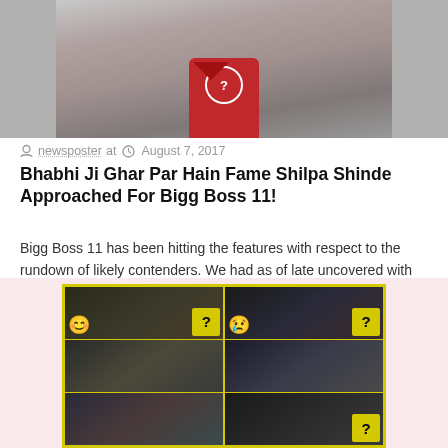[Figure (photo): Photo of a woman in a red Guess branded shirt/top]
newsposter at  August 7, 2017
Bhabhi Ji Ghar Par Hain Fame Shilpa Shinde Approached For Bigg Boss 11!
Bigg Boss 11 has been hitting the features with respect to the rundown of likely contenders. We had as of late uncovered with respect to the [...]
[Figure (photo): Collage of four images related to Bigg Boss 11 contestants with emoji overlays and question marks on yellow background]